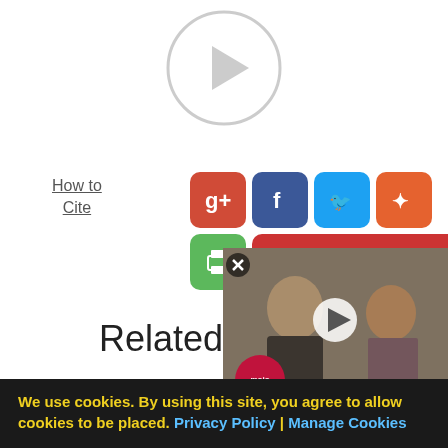[Figure (other): Video play button circle (large circular play icon)]
How to
Cite
[Figure (other): Social sharing icons: Google+, Facebook, Twitter, StumbleUpon, Print button, Report Error button]
Related Articles
How To Get Rid Of Pimples
What Is Ba...
[Figure (other): Floating video overlay showing two actors with WatchMojo logo and play button]
We use cookies. By using this site, you agree to allow cookies to be placed. Privacy Policy | Manage Cookies